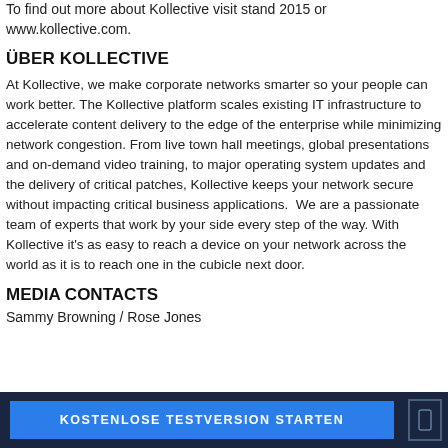To find out more about Kollective visit stand 2015 or www.kollective.com.
ÜBER KOLLECTIVE
At Kollective, we make corporate networks smarter so your people can work better. The Kollective platform scales existing IT infrastructure to accelerate content delivery to the edge of the enterprise while minimizing network congestion. From live town hall meetings, global presentations and on-demand video training, to major operating system updates and the delivery of critical patches, Kollective keeps your network secure without impacting critical business applications.  We are a passionate team of experts that work by your side every step of the way. With Kollective it's as easy to reach a device on your network across the world as it is to reach one in the cubicle next door.
MEDIA CONTACTS
Sammy Browning / Rose Jones
KOSTENLOSE TESTVERSION STARTEN